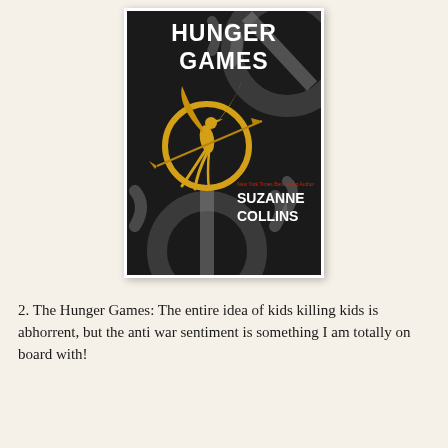[Figure (illustration): Book cover of 'The Hunger Games' by Suzanne Collins. Dark/black background with large bold white text 'HUNGER GAMES' at top. A golden mockingjay bird in a circular golden ring in the center. Grey decorative circular ring elements in background. Author name 'SUZANNE COLLINS' in white bold text at bottom right, with 'New York Times Bestselling Author' in small red text above author name.]
2. The Hunger Games: The entire idea of kids killing kids is abhorrent, but the anti war sentiment is something I am totally on board with!